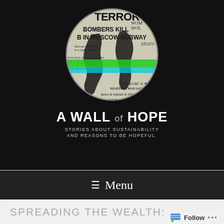[Figure (logo): Globe made of newspaper clippings with headlines including TERROR, BOMBERS KILL, IN MOSCOW SUBWAY, with green and blue bands across the globe on a black background]
A WALL OF HOPE
STORIES ABOUT SUSTAINABILITY AND REASONS TO BE HOPEFUL.
≡ Menu
SPREADING THE WEALTH:
HOW TO BUILD A CENTER SUS...
Follow